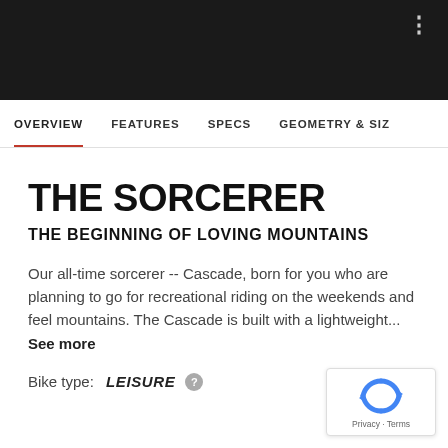OVERVIEW  FEATURES  SPECS  GEOMETRY & SIZ
THE SORCERER
THE BEGINNING OF LOVING MOUNTAINS
Our all-time sorcerer -- Cascade, born for you who are planning to go for recreational riding on the weekends and feel mountains. The Cascade is built with a lightweight... See more
Bike type: LEISURE